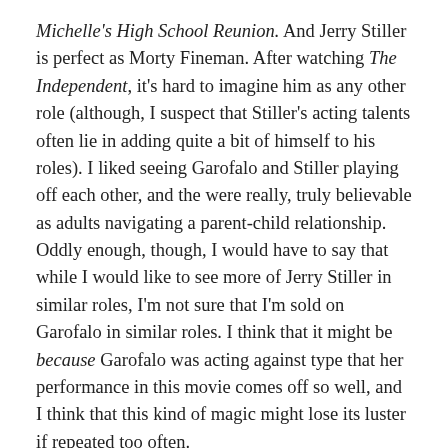Michelle's High School Reunion.  And Jerry Stiller is perfect as Morty Fineman.  After watching The Independent, it's hard to imagine him as any other role (although, I suspect that Stiller's acting talents often lie in adding quite a bit of himself to his roles).  I liked seeing Garofalo and Stiller playing off each other, and the were really, truly believable as adults navigating a parent-child relationship.  Oddly enough, though, I would have to say that while I would like to see more of Jerry Stiller in similar roles, I'm not sure that I'm sold on Garofalo in similar roles.  I think that it might be because Garofalo was acting against type that her performance in this movie comes off so well, and I think that this kind of magic might lose its luster if repeated too often.
To change the subject a bit, I think that one of the things that made this movie so watchable was the pacing, the